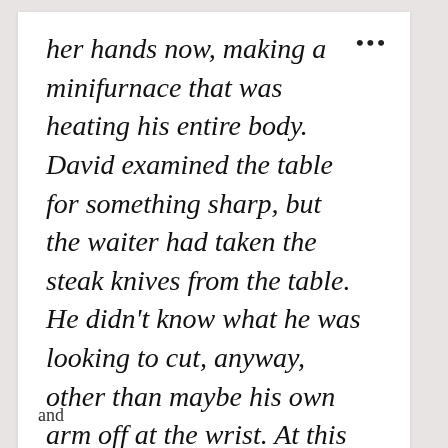her hands now, making a minifurnace that was heating his entire body. David examined the table for something sharp, but the waiter had taken the steak knives from the table. He didn't know what he was looking to cut, anyway, other than maybe his own arm off at the wrist. At this point, he could probably do the job with a spoon.
and